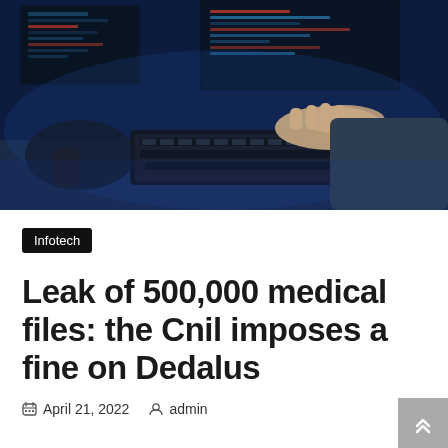[Figure (photo): Person typing on a keyboard in a dark blue-lit environment with computer monitors in the background, suggesting a hacking or cybersecurity context.]
Infotech
Leak of 500,000 medical files: the Cnil imposes a fine on Dedalus
April 21, 2022  admin